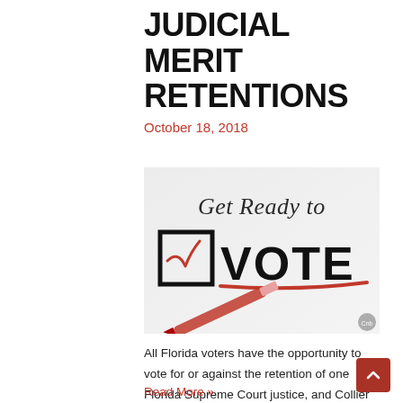JUDICIAL MERIT RETENTIONS
October 18, 2018
[Figure (photo): Promotional image reading 'Get Ready to VOTE' with a checkbox containing a red checkmark and a red pen, on a light gray background.]
All Florida voters have the opportunity to vote for or against the retention of one Florida Supreme Court justice, and Collier County voters will vote on ...
Read More »